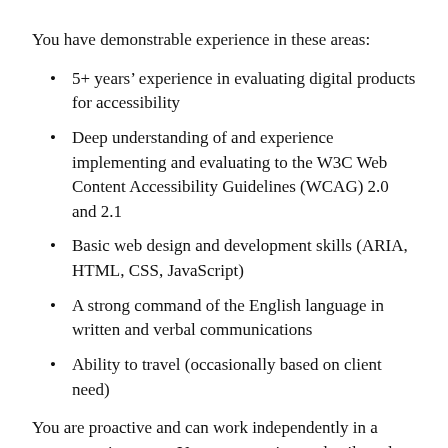You have demonstrable experience in these areas:
5+ years' experience in evaluating digital products for accessibility
Deep understanding of and experience implementing and evaluating to the W3C Web Content Accessibility Guidelines (WCAG) 2.0 and 2.1
Basic web design and development skills (ARIA, HTML, CSS, JavaScript)
A strong command of the English language in written and verbal communications
Ability to travel (occasionally based on client need)
You are proactive and can work independently in a remote environment. You pay attention to details and are curious about the accessibility. Furthermore, you are also willing to learn about best practices and mentor colleagues with